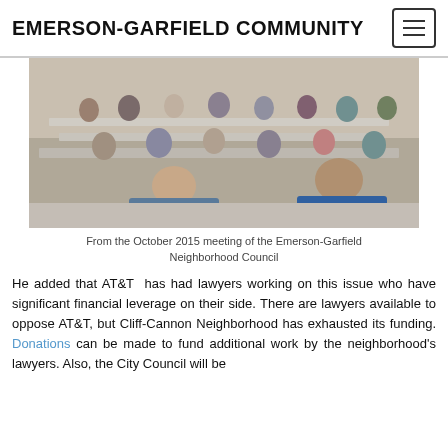EMERSON-GARFIELD COMMUNITY
[Figure (photo): Community meeting room with people seated at tables; a laptop and papers visible in foreground; presenter at front in blue shirt facing the audience.]
From the October 2015 meeting of the Emerson-Garfield Neighborhood Council
He added that AT&T has had lawyers working on this issue who have significant financial leverage on their side. There are lawyers available to oppose AT&T, but Cliff-Cannon Neighborhood has exhausted its funding. Donations can be made to fund additional work by the neighborhood's lawyers. Also, the City Council will be